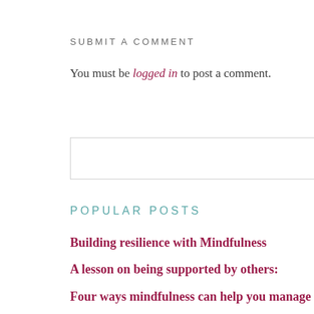SUBMIT A COMMENT
You must be logged in to post a comment.
[Figure (screenshot): Search input box with a 'Search' button on the right side]
POPULAR POSTS
Building resilience with Mindfulness
A lesson on being supported by others:
Four ways mindfulness can help you manage the emotional roller coaster ride of motherhood